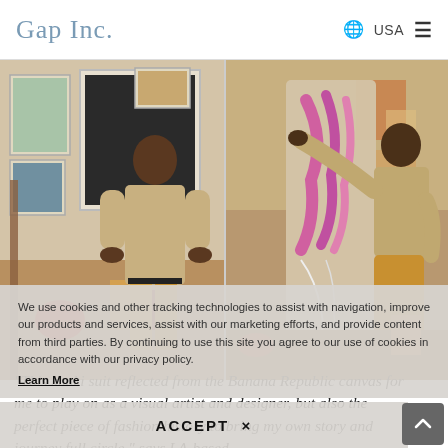Gap Inc.   🌐 USA  ≡
[Figure (photo): Two-panel photo of a young man in an artist's studio. Left panel: man standing in front of framed artwork on walls. Right panel: man seated, painting on a fabric/canvas piece with pink and white designs.]
We use cookies and other tracking technologies to assist with navigation, improve our products and services, assist with our marketing efforts, and provide content from third parties. By continuing to use this site you agree to our use of cookies in accordance with our privacy policy.
Learn More
"This khaki suit reflected from the Banana Republic canvas for me to play on as a visual artist and designer, but also the perfect piece of fashion history to bring my own story and journey full circle," says LA-based
ACCEPT ×